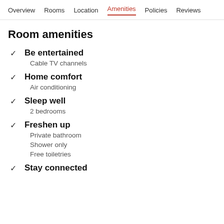Overview  Rooms  Location  Amenities  Policies  Reviews
Room amenities
Be entertained
Cable TV channels
Home comfort
Air conditioning
Sleep well
2 bedrooms
Freshen up
Private bathroom
Shower only
Free toiletries
Stay connected